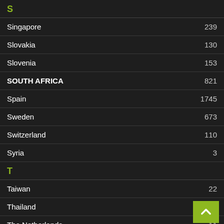S
Singapore 239
Slovakia 130
Slovenia 153
SOUTH AFRICA 821
Spain 1745
Sweden 673
Switzerland 110
Syria 3
T
Taiwan 22
Thailand 130
The Netherlands 11
Turkey 99
U